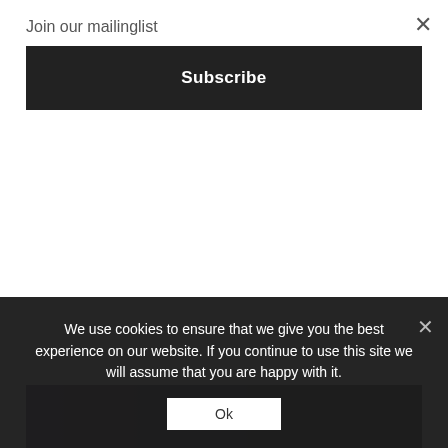Join our mailinglist
Subscribe
be out on streaming soon, and on their forthcoming debut album ‘Moments Of Being’. The video was recorded in their native Amsterdam, in collaboration with their friend and camera handler Thomas Paschenegger.
Check out the video below:
[Figure (photo): Dark video thumbnail strip showing a dimly lit scene]
We use cookies to ensure that we give you the best experience on our website. If you continue to use this site we will assume that you are happy with it.
Ok